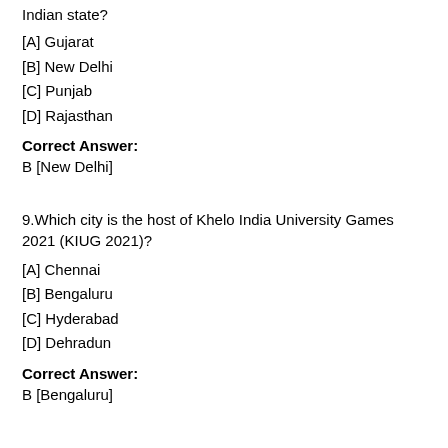Indian state?
[A] Gujarat
[B] New Delhi
[C] Punjab
[D] Rajasthan
Correct Answer:
B [New Delhi]
9.Which city is the host of Khelo India University Games 2021 (KIUG 2021)?
[A] Chennai
[B] Bengaluru
[C] Hyderabad
[D] Dehradun
Correct Answer:
B [Bengaluru]